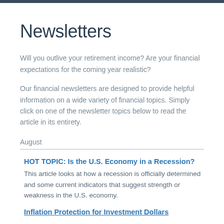Newsletters
Will you outlive your retirement income? Are your financial expectations for the coming year realistic?
Our financial newsletters are designed to provide helpful information on a wide variety of financial topics. Simply click on one of the newsletter topics below to read the article in its entirety.
August
HOT TOPIC: Is the U.S. Economy in a Recession? This article looks at how a recession is officially determined and some current indicators that suggest strength or weakness in the U.S. economy.
Inflation Protection for Investment Dollars